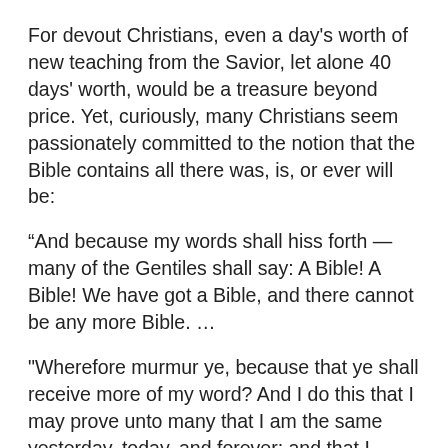For devout Christians, even a day's worth of new teaching from the Savior, let alone 40 days' worth, would be a treasure beyond price. Yet, curiously, many Christians seem passionately committed to the notion that the Bible contains all there was, is, or ever will be:
“And because my words shall hiss forth — many of the Gentiles shall say: A Bible! A Bible! We have got a Bible, and there cannot be any more Bible. …
"Wherefore murmur ye, because that ye shall receive more of my word? And I do this that I may prove unto many that I am the same yesterday, today, and forever; and that I speak forth my words according to mine own pleasure. And because that I have spoken one word ye need not suppose that I cannot speak another; for my work is not yet finished; neither shall it be until the end of man,